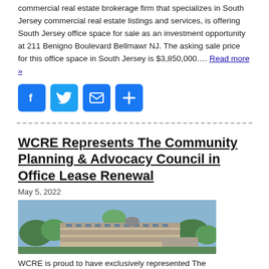commercial real estate brokerage firm that specializes in South Jersey commercial real estate listings and services, is offering South Jersey office space for sale as an investment opportunity at 211 Benigno Boulevard Bellmawr NJ. The asking sale price for this office space in South Jersey is $3,850,000.... Read more »
[Figure (infographic): Four social sharing icon buttons: Facebook (blue F), Twitter (blue bird), Email (blue envelope), Share (blue plus sign)]
WCRE Represents The Community Planning & Advocacy Council in Office Lease Renewal
May 5, 2022
[Figure (photo): Aerial photograph of a multi-story commercial office building surrounded by trees and greenery, with a parking lot visible.]
WCRE is proud to have exclusively represented The